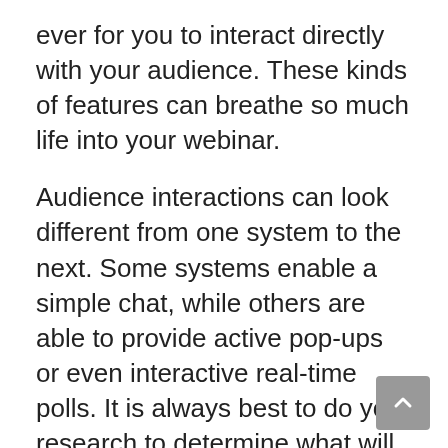ever for you to interact directly with your audience. These kinds of features can breathe so much life into your webinar.
Audience interactions can look different from one system to the next. Some systems enable a simple chat, while others are able to provide active pop-ups or even interactive real-time polls. It is always best to do your research to determine what will work best for your style.
Remember, the more that you involve your audience, the more likely it is that they will pay attention!